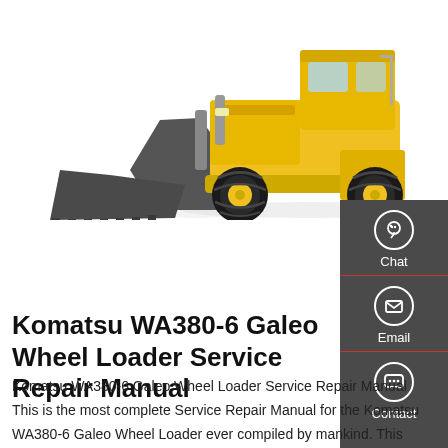[Figure (photo): Komatsu WA380-6 Galeo Wheel Loader, yellow and black, front-left view showing bucket lowered, on white background]
[Figure (infographic): Dark grey sidebar panel with three icons: Chat (headset icon), Email (envelope icon), Contact (speech bubble with dots icon), separated by red dividers]
Komatsu WA380-6 Galeo Wheel Loader Service Repair Manual
Komatsu WA380-6 Galeo Wheel Loader Service Repair Manual This is the most complete Service Repair Manual for the Komatsu WA380-6 Galeo Wheel Loader ever compiled by mankind. This contains of high quality diagrams and instructions on how to service and repair your Komatsu